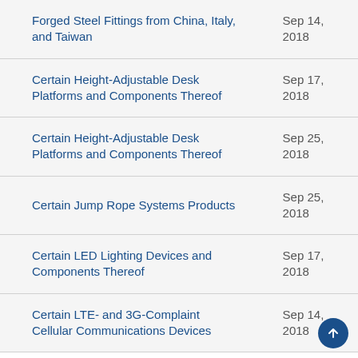| Case | Date |
| --- | --- |
| Forged Steel Fittings from China, Italy, and Taiwan | Sep 14, 2018 |
| Certain Height-Adjustable Desk Platforms and Components Thereof | Sep 17, 2018 |
| Certain Height-Adjustable Desk Platforms and Components Thereof | Sep 25, 2018 |
| Certain Jump Rope Systems Products | Sep 25, 2018 |
| Certain LED Lighting Devices and Components Thereof | Sep 17, 2018 |
| Certain LTE- and 3G-Complaint Cellular Communications Devices | Sep 14, 2018 |